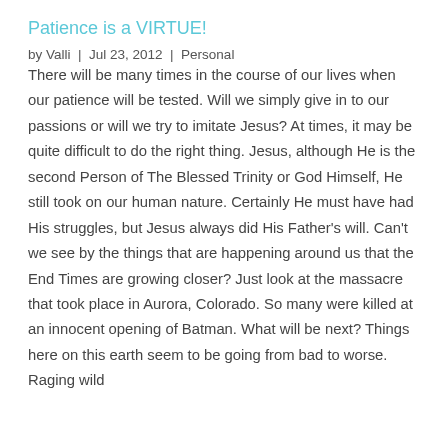Patience is a VIRTUE!
by Valli  |  Jul 23, 2012  |  Personal
There will be many times in the course of our lives when our patience will be tested. Will we simply give in to our passions or will we try to imitate Jesus? At times, it may be quite difficult to do the right thing. Jesus, although He is the second Person of The Blessed Trinity or God Himself, He still took on our human nature. Certainly He must have had His struggles, but Jesus always did His Father's will. Can't we see by the things that are happening around us that the End Times are growing closer? Just look at the massacre that took place in Aurora, Colorado. So many were killed at an innocent opening of Batman. What will be next? Things here on this earth seem to be going from bad to worse. Raging wild